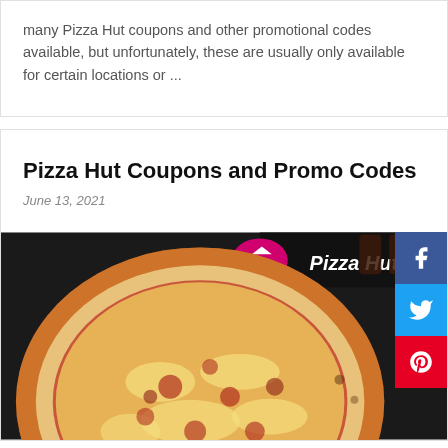many Pizza Hut coupons and other promotional codes available, but unfortunately, these are usually only available for certain locations or ...
Pizza Hut Coupons and Promo Codes
June 13, 2021
[Figure (photo): Photo of a cheese pizza with Pizza Hut branding visible in the background, along with social sharing buttons for Facebook, Twitter, and Pinterest overlaid on the right side.]